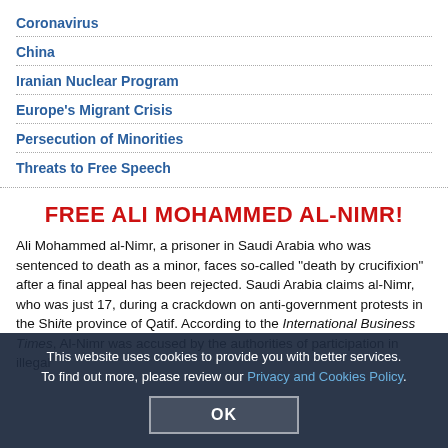Coronavirus
China
Iranian Nuclear Program
Europe's Migrant Crisis
Persecution of Minorities
Threats to Free Speech
FREE ALI MOHAMMED AL-NIMR!
Ali Mohammed al-Nimr, a prisoner in Saudi Arabia who was sentenced to death as a minor, faces so-called "crucifixion" after a final appeal has been rejected. Saudi Arabia claims al-Nimr, who was just 17, during a crackdown on anti-government protests in the Shiite province of Qatif. According to the International Business Times, Al-Nimr was accused by the authorities of participation in illegal